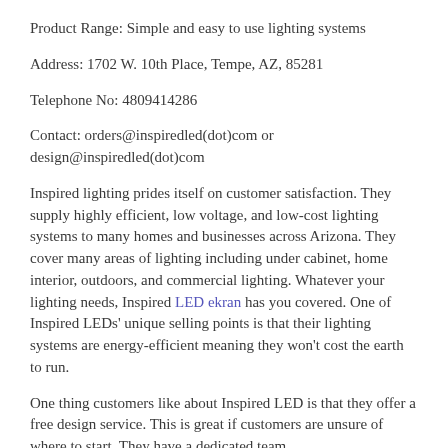Product Range: Simple and easy to use lighting systems
Address: 1702 W. 10th Place, Tempe, AZ, 85281
Telephone No: 4809414286
Contact: orders@inspiredled(dot)com or design@inspiredled(dot)com
Inspired lighting prides itself on customer satisfaction. They supply highly efficient, low voltage, and low-cost lighting systems to many homes and businesses across Arizona. They cover many areas of lighting including under cabinet, home interior, outdoors, and commercial lighting. Whatever your lighting needs, Inspired LED ekran has you covered. One of Inspired LEDs' unique selling points is that their lighting systems are energy-efficient meaning they won't cost the earth to run.
One thing customers like about Inspired LED is that they offer a free design service. This is great if customers are unsure of where to start. They have a dedicated team